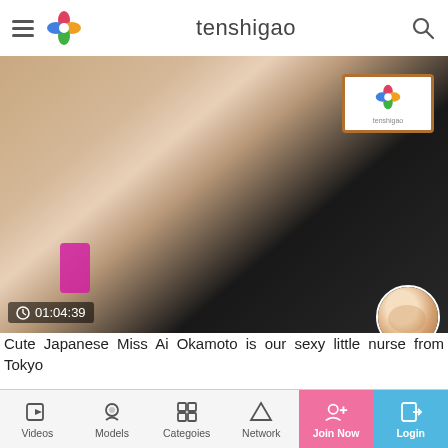tenshigao
[Figure (screenshot): Video thumbnail showing a person, with timestamp 01:04:39 overlay and circular avatar in bottom right]
Cute Japanese Miss Ai Okamoto is our sexy little nurse from Tokyo
[Figure (screenshot): Second video thumbnail showing a person with dark hair against orange background]
Videos | Models | Categoies | Network | Join Now | Login